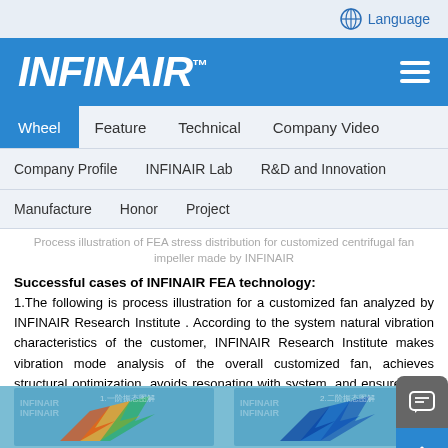Language
[Figure (logo): INFINAIR company logo in white italic bold text on blue background with TM superscript]
Wheel
Feature
Technical
Company Video
Company Profile
INFINAIR Lab
R&D and Innovation
Manufacture
Honor
Project
Process illustration of FEA stress distribution for customized centrifugal fan impeller made by INFINAIR
Successful cases of INFINAIR FEA technology:
1.The following is process illustration for a customized fan analyzed by INFINAIR Research Institute . According to the system natural vibration characteristics of the customer, INFINAIR Research Institute makes vibration mode analysis of the overall customized fan, achieves structural optimization, avoids resonating with system, and ensures that the fan can operate reliably for a long time.
[Figure (photo): FEA vibration mode analysis images of a centrifugal fan impeller showing two mode shapes with Chinese labels]